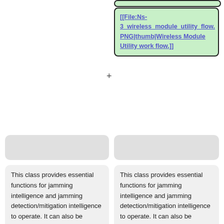[Figure (screenshot): Top partial green box (cut off at top of page) in right column]
[[File:Ns-3_wireless_module_utility_flow.PNG|thumb|Wireless Module Utility work flow.]]
[Figure (screenshot): Gray rounded placeholder box in left column]
[Figure (screenshot): Gray rounded placeholder box in right column]
This class provides essential functions for jamming intelligence and jamming detection/mitigation intelligence to operate. It can also be installed separately for monitoring network performance such as throughput.
This class provides essential functions for jamming intelligence and jamming detection/mitigation intelligence to operate. It can also be installed separately for monitoring network performance such as throughput.
[Figure (screenshot): Green rounded box with plus sign in right column (lower)]
Callbacks are used to connect the Wireless Module Utility to the PHY layer and the intelligence layer (jamming,